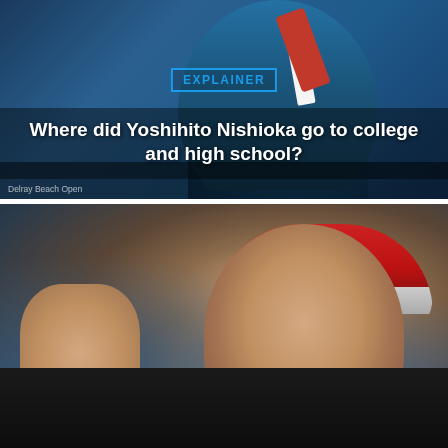[Figure (photo): Tennis player holding a racket with a teal/blue background, with an EXPLAINER badge overlay and article title about Yoshihito Nishioka. Source label: Delray Beach Open]
Where did Yoshihito Nishioka go to college and high school?
[Figure (photo): Close-up photo of a male tennis player pumping his fist, wearing a red and white cap and black jersey, with a blurred blue/teal background]